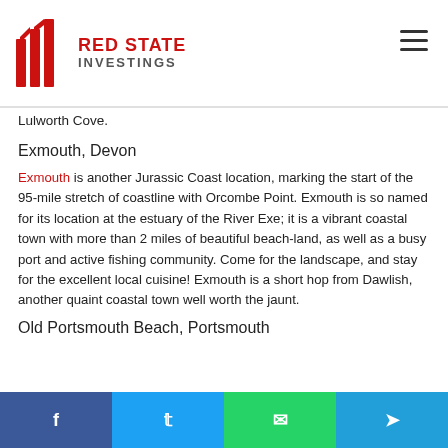Red State Investings
Lulworth Cove.
Exmouth, Devon
Exmouth is another Jurassic Coast location, marking the start of the 95-mile stretch of coastline with Orcombe Point. Exmouth is so named for its location at the estuary of the River Exe; it is a vibrant coastal town with more than 2 miles of beautiful beach-land, as well as a busy port and active fishing community. Come for the landscape, and stay for the excellent local cuisine! Exmouth is a short hop from Dawlish, another quaint coastal town well worth the jaunt.
Old Portsmouth Beach, Portsmouth